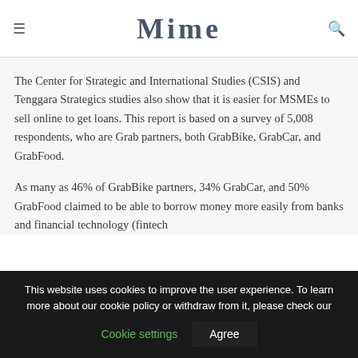Mime
The Center for Strategic and International Studies (CSIS) and Tenggara Strategics studies also show that it is easier for MSMEs to sell online to get loans. This report is based on a survey of 5,008 respondents, who are Grab partners, both GrabBike, GrabCar, and GrabFood.
As many as 46% of GrabBike partners, 34% GrabCar, and 50% GrabFood claimed to be able to borrow money more easily from banks and financial technology (fintech
This website uses cookies to improve the user experience. To learn more about our cookie policy or withdraw from it, please check our